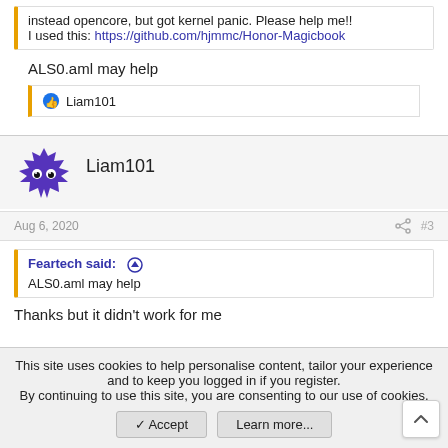instead opencore, but got kernel panic. Please help me!! I used this: https://github.com/hjmmc/Honor-Magicbook
ALS0.aml may help
👍 Liam101
[Figure (illustration): Liam101 user avatar - purple spiky creature icon]
Liam101
Aug 6, 2020  #3
Feartech said: ↑
ALS0.aml may help
Thanks but it didn't work for me
This site uses cookies to help personalise content, tailor your experience and to keep you logged in if you register.
By continuing to use this site, you are consenting to our use of cookies.
✓ Accept
Learn more...